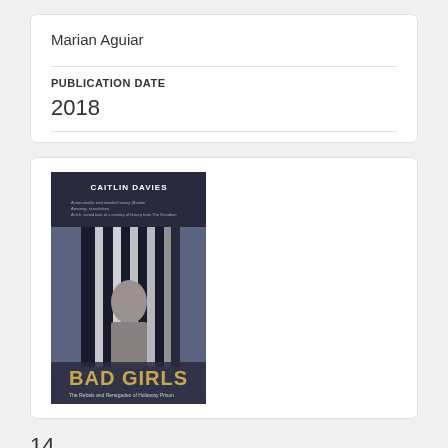Marian Aguiar
PUBLICATION DATE
2018
[Figure (photo): Book cover of 'Bad Girls: The Rebels and Renegades of Holloway Prison' by Caitlin Davies. Dark blue/grey cover with prison bars and a person's face visible through the bars. Gold text reads 'BAD GIRLS' and subtitle below.]
14. Bad Girls: A History of Rebels and